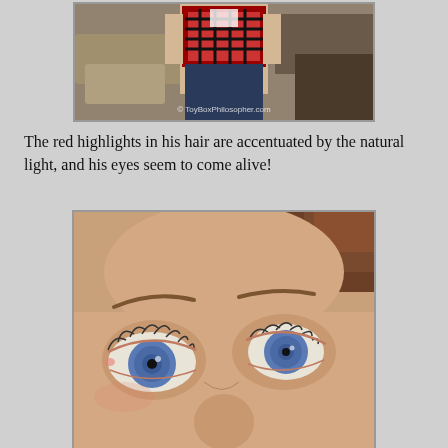[Figure (photo): A doll figure wearing a red plaid shirt and dark jeans, photographed outdoors against a rocky background. Watermark reads © ToyBoxPhilosopher.com]
The red highlights in his hair are accentuated by the natural light, and his eyes seem to come alive!
[Figure (photo): Close-up of a doll's face showing blue eyes with detailed lashes and eyebrows, brown hair visible at top. The eyes appear lifelike with detailed irises.]